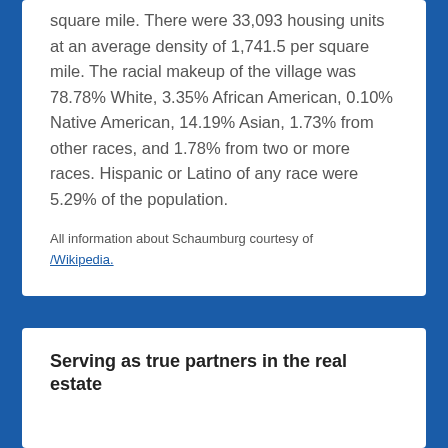square mile. There were 33,093 housing units at an average density of 1,741.5 per square mile. The racial makeup of the village was 78.78% White, 3.35% African American, 0.10% Native American, 14.19% Asian, 1.73% from other races, and 1.78% from two or more races. Hispanic or Latino of any race were 5.29% of the population.
All information about Schaumburg courtesy of /Wikipedia.
Serving as true partners in the real estate